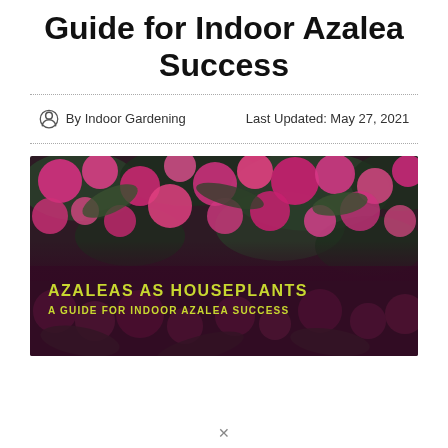Guide for Indoor Azalea Success
By Indoor Gardening   Last Updated: May 27, 2021
[Figure (photo): Photograph of pink azalea flowers in bloom, with an overlaid dark banner reading 'AZALEAS AS HOUSEPLANTS / A GUIDE FOR INDOOR AZALEA SUCCESS' in yellow-green text.]